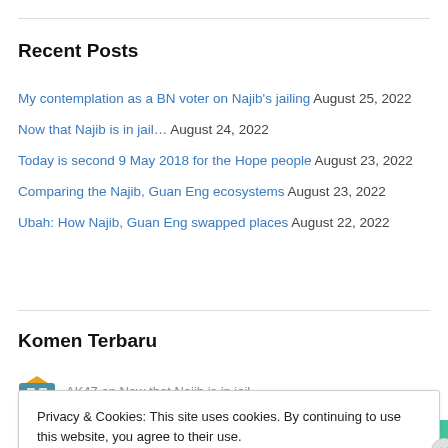Recent Posts
My contemplation as a BN voter on Najib's jailing August 25, 2022
Now that Najib is in jail… August 24, 2022
Today is second 9 May 2018 for the Hope people August 23, 2022
Comparing the Najib, Guan Eng ecosystems August 23, 2022
Ubah: How Najib, Guan Eng swapped places August 22, 2022
Komen Terbaru
AK47 on Now that Najib is in jail…
Privacy & Cookies: This site uses cookies. By continuing to use this website, you agree to their use. To find out more, including how to control cookies, see here: Cookie Policy
Close and accept